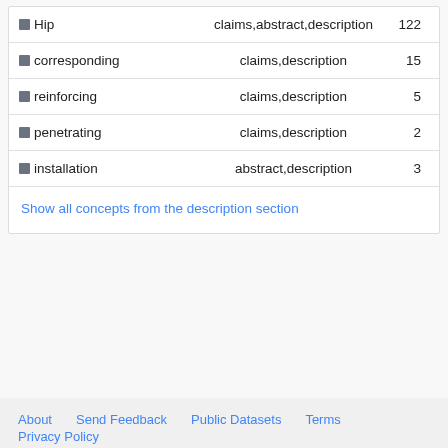| Concept | Sections | Count |
| --- | --- | --- |
| ■ Hip | claims,abstract,description | 122 |
| ■ corresponding | claims,description | 15 |
| ■ reinforcing | claims,description | 5 |
| ■ penetrating | claims,description | 2 |
| ■ installation | abstract,description | 3 |
Show all concepts from the description section
About  Send Feedback  Public Datasets  Terms
Privacy Policy